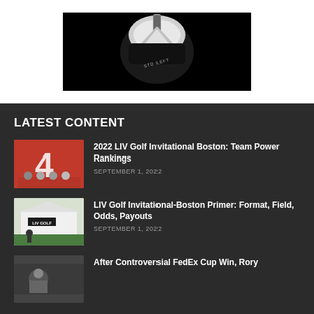[Figure (photo): Golf club head on black background with STD LEFT text visible]
LATEST CONTENT
[Figure (photo): Group of people posing in front of red background with stylized number logo]
2022 LIV Golf Invitational Boston: Team Power Rankings
SEPTEMBER 1, 2022
[Figure (photo): LIV Golf event exterior with sign and green lawn]
LIV Golf Invitational-Boston Primer: Format, Field, Odds, Payouts
SEPTEMBER 1, 2022
[Figure (photo): Partial thumbnail for After Controversial FedEx Cup Win, Rory article]
After Controversial FedEx Cup Win, Rory